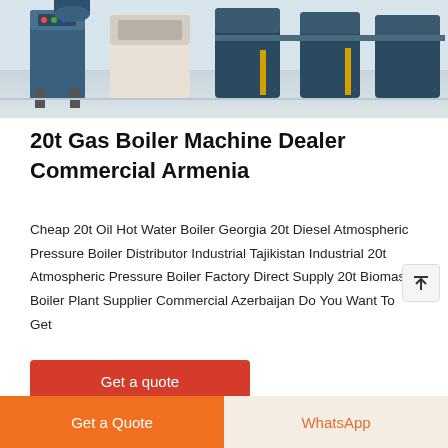[Figure (photo): Industrial gas boiler machines in a facility room, blue/grey machinery on white floor]
20t Gas Boiler Machine Dealer Commercial Armenia
Cheap 20t Oil Hot Water Boiler Georgia 20t Diesel Atmospheric Pressure Boiler Distributor Industrial Tajikistan Industrial 20t Atmospheric Pressure Boiler Factory Direct Supply 20t Biomass Boiler Plant Supplier Commercial Azerbaijan Do You Want To Get
Get a quote
Get a Quote
WhatsApp